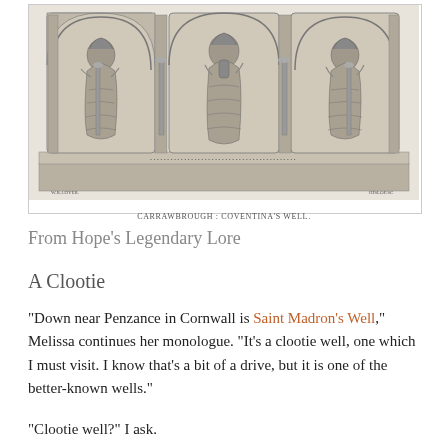[Figure (photo): A black and white engraving of a Roman stone relief showing three seated female figures (nymphs or water goddesses) in arched niches with columns, from Carrawburgh: Coventina's Well. Small text labels at bottom left and right. Caption below reads 'CARRAWBROUGH : COVENTINA'S WELL.']
CARRAWBROUGH : COVENTINA'S WELL.
From Hope's Legendary Lore
A Clootie
“Down near Penzance in Cornwall is Saint Madron’s Well,” Melissa continues her monologue. “It’s a clootie well, one which I must visit. I know that’s a bit of a drive, but it is one of the better-known wells.”
“Clootie well?” I ask.